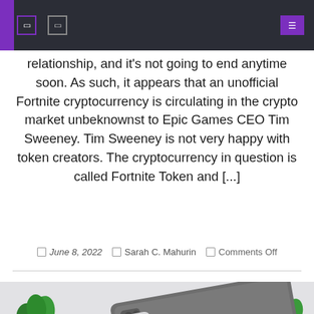Navigation header with icons
relationship, and it’s not going to end anytime soon. As such, it appears that an unofficial Fortnite cryptocurrency is circulating in the crypto market unbeknownst to Epic Games CEO Tim Sweeney. Tim Sweeney is not very happy with token creators. The cryptocurrency in question is called Fortnite Token and [...]
June 8, 2022  Sarah C. Mahurin  Comments Off
[Figure (photo): Apple iPad Pro and Apple Pencil on a white desk surface with small green potted plants on either side, photographed from above]